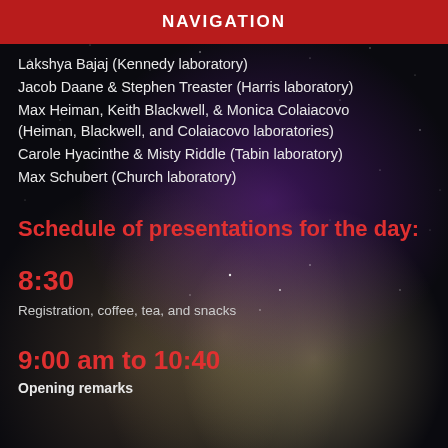NAVIGATION
Lakshya Bajaj (Kennedy laboratory)
Jacob Daane & Stephen Treaster (Harris laboratory)
Max Heiman, Keith Blackwell, & Monica Colaiacovo (Heiman, Blackwell, and Colaiacovo laboratories)
Carole Hyacinthe & Misty Riddle (Tabin laboratory)
Max Schubert (Church laboratory)
Schedule of presentations for the day:
8:30
Registration, coffee, tea, and snacks
9:00 am to 10:40
Opening remarks